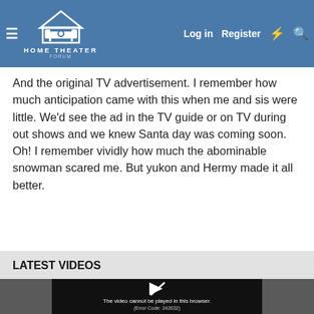Home Theater Forum — Log in | Register
And the original TV advertisement. I remember how much anticipation came with this when me and sis were little. We'd see the ad in the TV guide or on TV during out shows and we knew Santa day was coming soon. Oh! I remember vividly how much the abominable snowman scared me. But yukon and Hermy made it all better.
LATEST VIDEOS
[Figure (screenshot): Video player showing error message: 'The video cannot be played in this browser. (Error Code: 242632)']